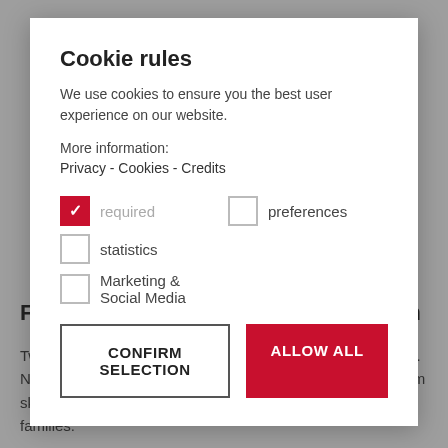Cookie rules
We use cookies to ensure you the best user experience on our website.
More information:
Privacy - Cookies - Credits
required (checked)
preferences (unchecked)
statistics (unchecked)
Marketing & Social Media (unchecked)
CONFIRM SELECTION
ALLOW ALL
Family Fun-Slopes Rotwand und Helm
Two new attractions will be added to the offering for families. New funslopes for the whole family at the Rotwand and Helm ski mountains round out an already extensive offer for families.